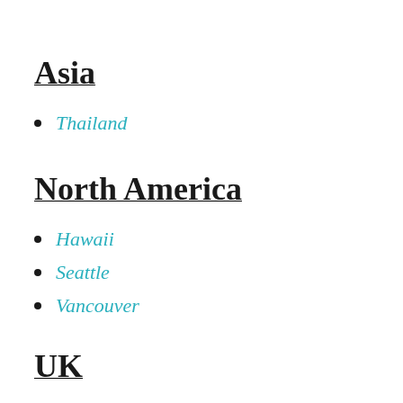Asia
Thailand
North America
Hawaii
Seattle
Vancouver
UK
Bath